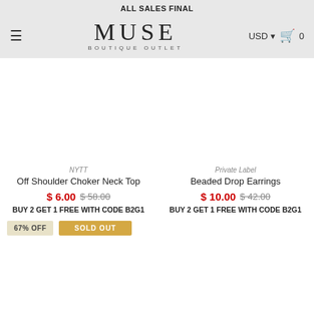ALL SALES FINAL
[Figure (logo): MUSE BOUTIQUE OUTLET logo with hamburger menu, USD currency selector, and cart icon showing 0 items]
[Figure (photo): Product image area for Off Shoulder Choker Neck Top (empty/white)]
NYTT
Off Shoulder Choker Neck Top
$ 6.00  $58.00  BUY 2 GET 1 FREE WITH CODE B2G1
[Figure (photo): Product image area for Beaded Drop Earrings (empty/white)]
Private Label
Beaded Drop Earrings
$ 10.00  $42.00  BUY 2 GET 1 FREE WITH CODE B2G1
67% OFF
SOLD OUT